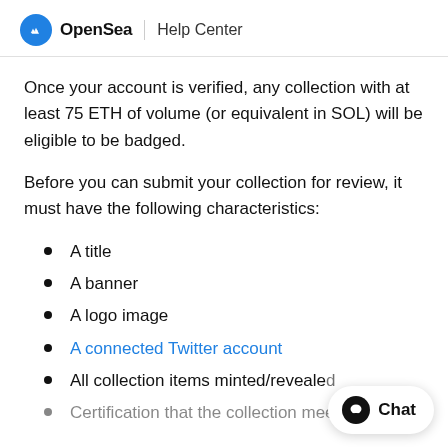OpenSea | Help Center
Once your account is verified, any collection with at least 75 ETH of volume (or equivalent in SOL) will be eligible to be badged.
Before you can submit your collection for review, it must have the following characteristics:
A title
A banner
A logo image
A connected Twitter account
All collection items minted/revealed
Certification that the collection meets the...